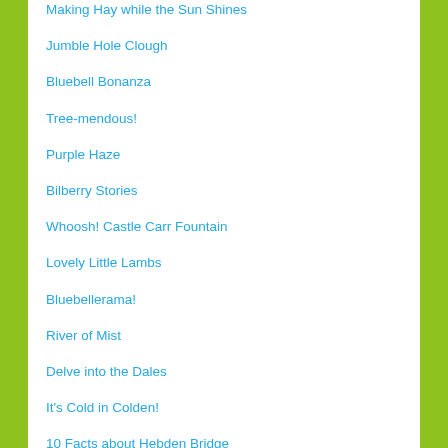Making Hay while the Sun Shines
Jumble Hole Clough
Bluebell Bonanza
Tree-mendous!
Purple Haze
Bilberry Stories
Whoosh! Castle Carr Fountain
Lovely Little Lambs
Bluebellerama!
River of Mist
Delve into the Dales
It's Cold in Colden!
10 Facts about Hebden Bridge
Parcevall Hall Gardens
Higgledy Piggledy Hebden Houses
Striding up Stoodley Pike
Autumn in Luddenden Dean